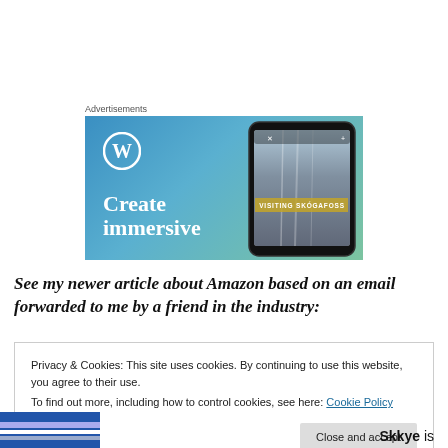Advertisements
[Figure (illustration): WordPress advertisement banner with blue-green gradient background, WordPress logo, text 'Create immersive', and a phone mockup showing a waterfall (Skógafoss) with yellow banner overlay reading 'VISITING SKÓGAFOSS']
See my newer article about Amazon based on an email forwarded to me by a friend in the industry:
Privacy & Cookies: This site uses cookies. By continuing to use this website, you agree to their use.
To find out more, including how to control cookies, see here: Cookie Policy
Close and accept
Skkye is